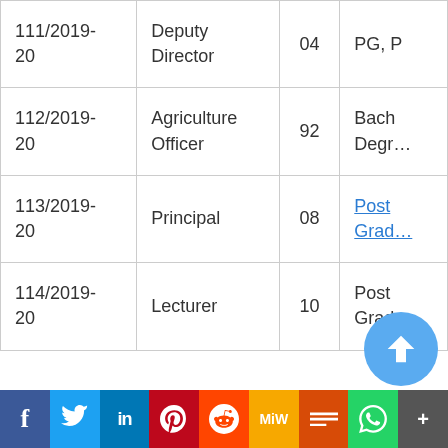| Notification No. | Post | Vacancies | Qualification |
| --- | --- | --- | --- |
| 111/2019-20 | Deputy Director | 04 | PG, P… |
| 112/2019-20 | Agriculture Officer | 92 | Bach Degr… |
| 113/2019-20 | Principal | 08 | Post Grad… |
| 114/2019-20 | Lecturer | 10 | Post Grad… |